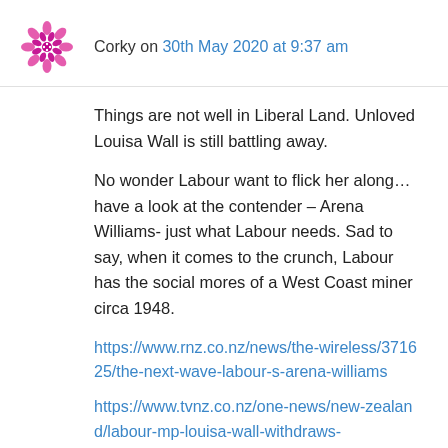Corky on 30th May 2020 at 9:37 am
Things are not well in Liberal Land. Unloved Louisa Wall is still battling away.
No wonder Labour want to flick her along…have a look at the contender – Arena Williams- just what Labour needs. Sad to say, when it comes to the crunch, Labour has the social mores of a West Coast miner circa 1948.
https://www.rnz.co.nz/news/the-wireless/371625/the-next-wave-labour-s-arena-williams
https://www.tvnz.co.nz/one-news/new-zealand/labour-mp-louisa-wall-withdraws-